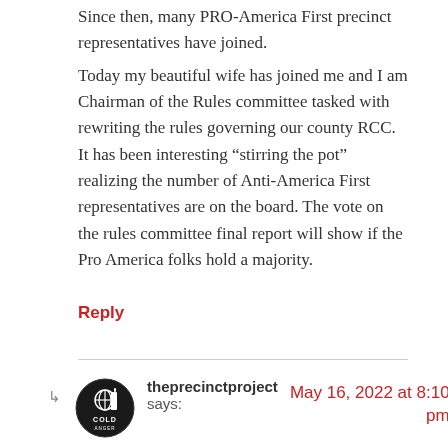Since then, many PRO-America First precinct representatives have joined.
Today my beautiful wife has joined me and I am Chairman of the Rules committee tasked with rewriting the rules governing our county RCC. It has been interesting “stirring the pot” realizing the number of Anti-America First representatives are on the board. The vote on the rules committee final report will show if the Pro America folks hold a majority.
Reply
theprecinctproject says:
May 16, 2022 at 8:10 pm
Hi Doug,
Thanks for getting into the fray. Please recruit others to follow your lead.